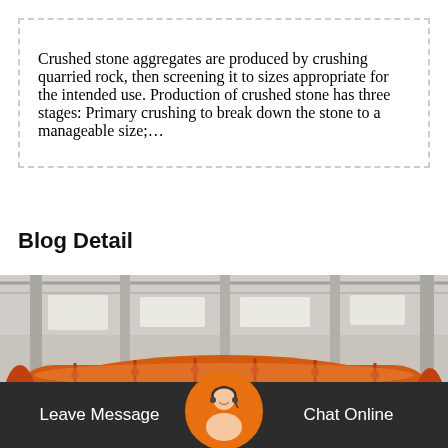Crushed stone aggregates are produced by crushing quarried rock, then screening it to sizes appropriate for the intended use. Production of crushed stone has three stages: Primary crushing to break down the stone to a manageable size;…
Blog Detail
[Figure (photo): Industrial factory interior showing a large orange cylindrical crushing/grinding machine (ball mill or similar) in a warehouse setting with steel roof structure visible above.]
Leave Message   Chat Online